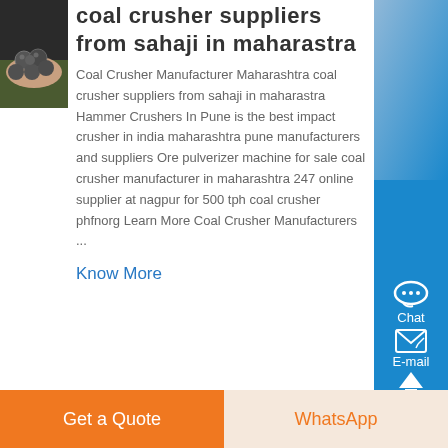[Figure (photo): Person holding several dark metal grinding balls in their hands, outdoors.]
coal crusher suppliers from sahaji in maharastra
Coal Crusher Manufacturer Maharashtra coal crusher suppliers from sahaji in maharastra Hammer Crushers In Pune is the best impact crusher in india maharashtra pune manufacturers and suppliers Ore pulverizer machine for sale coal crusher manufacturer in maharashtra 247 online supplier at nagpur for 500 tph coal crusher phfnorg Learn More Coal Crusher Manufacturers ...
Know More
Chat
E-mail
Top
Get a Quote
WhatsApp